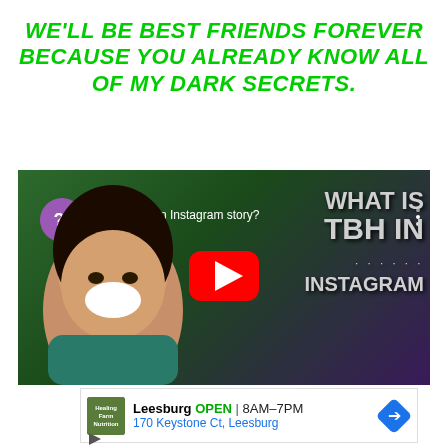WE'LL BE BEST FRIENDS FOREVER BECAUSE YOU ALREADY KNOW ALL OF MY DARK SECRETS.
[Figure (screenshot): YouTube video thumbnail showing a woman smiling on a green background with text overlay 'WHAT IS TBH IN INSTAGRAM STORY' and a red play button. Video title: 'What is tbh in Instagram story?']
[Figure (screenshot): Google Maps ad banner showing 'Leesburg OPEN 8AM-7PM 170 Keystone Ct, Leesburg' with navigation icon and play/close ad controls]